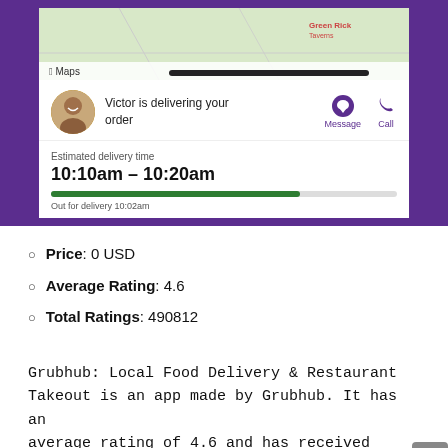[Figure (screenshot): Grubhub app screenshot showing delivery tracking: Victor is delivering your order. Estimated delivery time 10:10am – 10:20am. Out for delivery 10:02am. Progress bar shown. Message and Call buttons visible. Apple Maps map in background with purple phone frame.]
Price: 0 USD
Average Rating: 4.6
Total Ratings: 490812
Grubhub: Local Food Delivery & Restaurant Takeout is an app made by Grubhub. It has an average rating of 4.6 and has received 490812